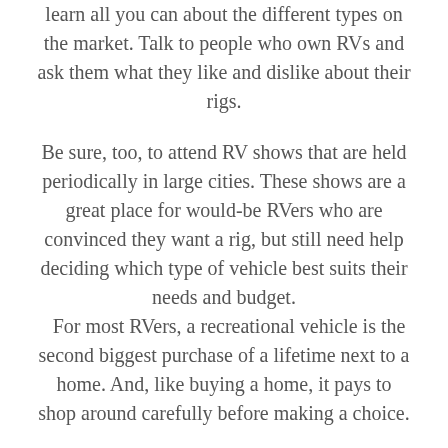learn all you can about the different types on the market. Talk to people who own RVs and ask them what they like and dislike about their rigs.
Be sure, too, to attend RV shows that are held periodically in large cities. These shows are a great place for would-be RVers who are convinced they want a rig, but still need help deciding which type of vehicle best suits their needs and budget. For most RVers, a recreational vehicle is the second biggest purchase of a lifetime next to a home. And, like buying a home, it pays to shop around carefully before making a choice.